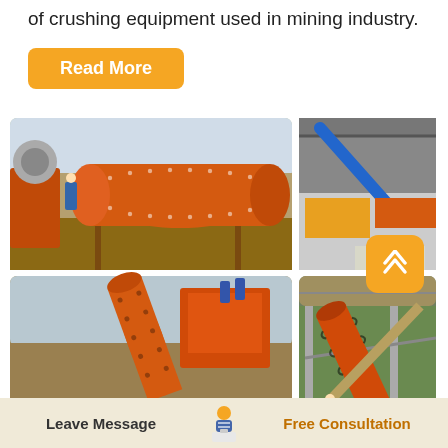of crushing equipment used in mining industry.
Read More
[Figure (photo): Four photos of industrial mining equipment including large orange cylindrical ball mills and crushing machinery at mining sites. Top-left: orange ball mill in outdoor setting with worker. Top-right: orange drum in warehouse with blue conveyor. Bottom-left: orange spiral classifier/mill outdoor. Bottom-right: orange drum on support structure under shelter.]
Liming Cone Crusher Short 3 Feet
Leave Message
Free Consultation